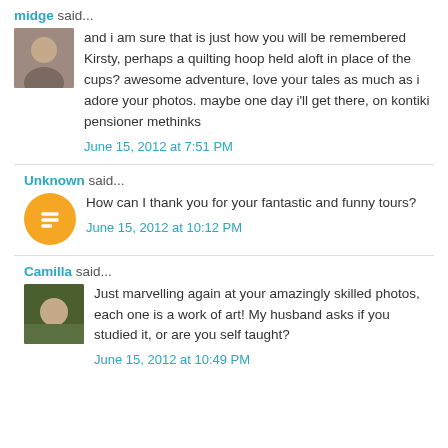midge said...
and i am sure that is just how you will be remembered Kirsty, perhaps a quilting hoop held aloft in place of the cups? awesome adventure, love your tales as much as i adore your photos. maybe one day i'll get there, on kontiki pensioner methinks
June 15, 2012 at 7:51 PM
Unknown said...
How can I thank you for your fantastic and funny tours?
June 15, 2012 at 10:12 PM
Camilla said...
Just marvelling again at your amazingly skilled photos, each one is a work of art! My husband asks if you studied it, or are you self taught?
June 15, 2012 at 10:49 PM